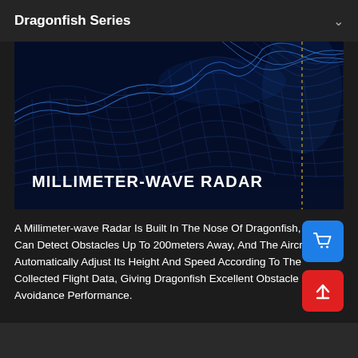Dragonfish Series
[Figure (illustration): Millimeter-wave radar visualization showing undulating blue wireframe waves on a dark navy background, with a vertical dashed orange/yellow line marker on the right side. Text overlay reads MILLIMETER-WAVE RADAR.]
A Millimeter-wave Radar Is Built In The Nose Of Dragonfish, Which Can Detect Obstacles Up To 200meters Away, And The Aircraft Automatically Adjust Its Height And Speed According To The Collected Flight Data, Giving Dragonfish Excellent Obstacle Avoidance Performance.